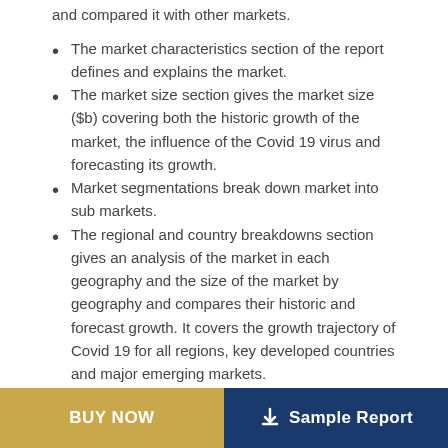and compared it with other markets.
The market characteristics section of the report defines and explains the market.
The market size section gives the market size ($b) covering both the historic growth of the market, the influence of the Covid 19 virus and forecasting its growth.
Market segmentations break down market into sub markets.
The regional and country breakdowns section gives an analysis of the market in each geography and the size of the market by geography and compares their historic and forecast growth. It covers the growth trajectory of Covid 19 for all regions, key developed countries and major emerging markets.
BUY NOW | Sample Report